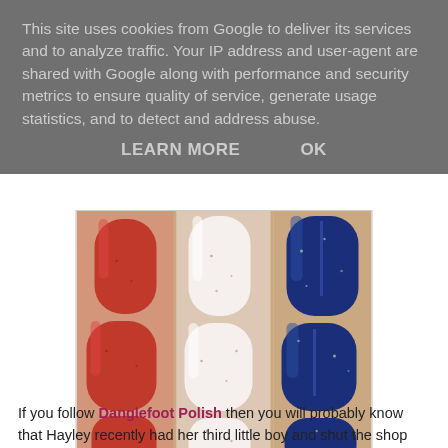This site uses cookies from Google to deliver its services and to analyze traffic. Your IP address and user-agent are shared with Google along with performance and security metrics to ensure quality of service, generate usage statistics, and to detect and address abuse.
LEARN MORE   OK
[Figure (photo): Close-up photo of fingernails painted in three colors arranged in three vertical panels: left panel shows red/coral nail polish, center panel shows white/cream nail polish with small speckles, right panel shows dark navy blue nail polish with subtle glitter flecks.]
If you follow Danglefoot Polish then you will probably know that Hayley recently had her third little boy and shut the shop